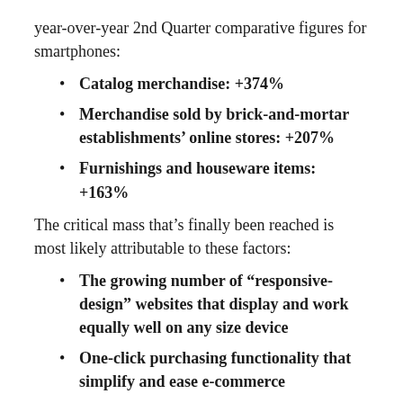year-over-year 2nd Quarter comparative figures for smartphones:
Catalog merchandise: +374%
Merchandise sold by brick-and-mortar establishments' online stores: +207%
Furnishings and houseware items: +163%
The critical mass that's finally been reached is most likely attributable to these factors:
The growing number of "responsive-design" websites that display and work equally well on any size device
One-click purchasing functionality that simplify and ease e-commerce